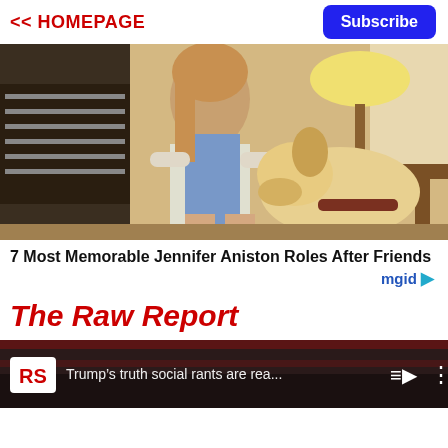<< HOMEPAGE  |  Subscribe
[Figure (photo): Woman seated on couch with a yellow Labrador retriever resting head on her lap, indoor living room setting]
7 Most Memorable Jennifer Aniston Roles After Friends
mgid ▷
The Raw Report
[Figure (screenshot): Video player bar showing RS logo, text 'Trump’s truth social rants are rea...' with playlist and menu icons on dark background]